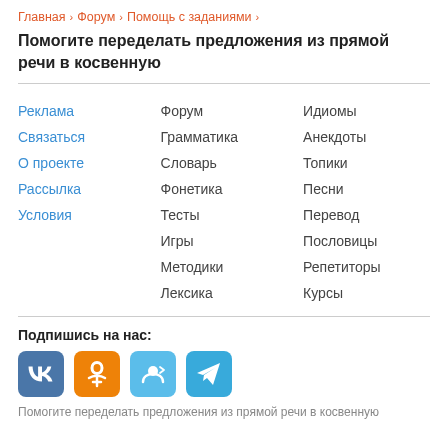Главная › Форум › Помощь с заданиями ›
Помогите переделать предложения из прямой речи в косвенную
Реклама
Связаться
О проекте
Рассылка
Условия
Форум
Грамматика
Словарь
Фонетика
Тесты
Игры
Методики
Лексика
Идиомы
Анекдоты
Топики
Песни
Перевод
Пословицы
Репетиторы
Курсы
Подпишись на нас:
Помогите переделать предложения из прямой речи в косвенную